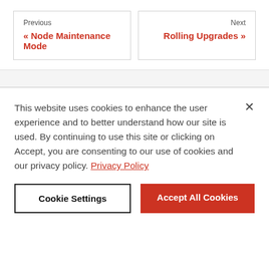Previous « Node Maintenance Mode
Next Rolling Upgrades »
This website uses cookies to enhance the user experience and to better understand how our site is used. By continuing to use this site or clicking on Accept, you are consenting to our use of cookies and our privacy policy. Privacy Policy
Cookie Settings
Accept All Cookies